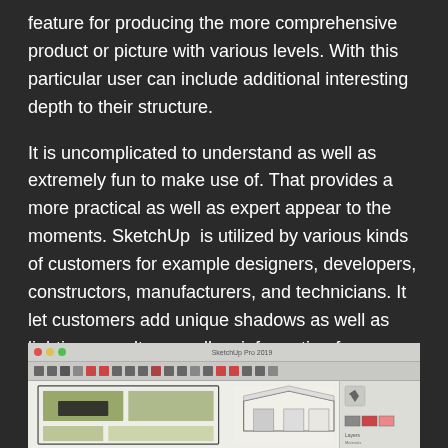feature for producing the more comprehensive product or picture with various levels. With this particular user can include additional interesting depth to their structure.
It is uncomplicated to understand as well as extremely fun to make use of. That provides a more practical as well as expert appear to the moments. SketchUp is utilized by various kinds of customers for example designers, developers, constructors, manufacturers, and technicians. It let customers add unique shadows as well as lightings results as well as information for excellent results. They have a unique adjusting feature for modifying different opacity degree to add various specifics, for example, x-ray set.
[Figure (screenshot): Screenshot of SketchUp Pro software showing a floor plan with green room areas and 3D architectural elements, with toolbar at top and panels on the right.]